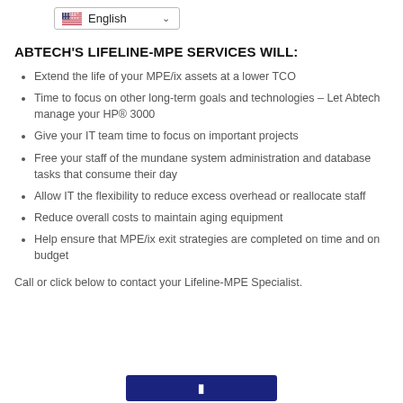English
ABTECH'S LIFELINE-MPE SERVICES WILL:
Extend the life of your MPE/ix assets at a lower TCO
Time to focus on other long-term goals and technologies – Let Abtech manage your HP® 3000
Give your IT team time to focus on important projects
Free your staff of the mundane system administration and database tasks that consume their day
Allow IT the flexibility to reduce excess overhead or reallocate staff
Reduce overall costs to maintain aging equipment
Help ensure that MPE/ix exit strategies are completed on time and on budget
Call or click below to contact your Lifeline-MPE Specialist.